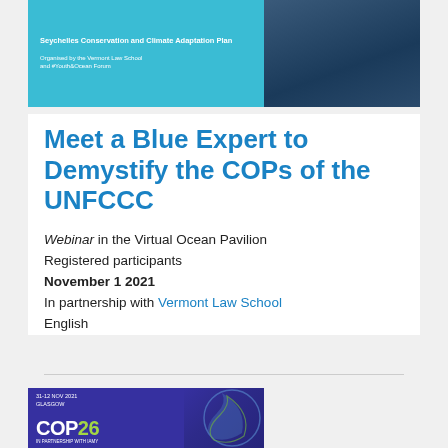[Figure (photo): Top banner image: teal/cyan left panel with event text overlay and dark blue right panel showing a person, for a webinar event about COPs of the UNFCCC]
Meet a Blue Expert to Demystify the COPs of the UNFCCC
Webinar in the Virtual Ocean Pavilion
Registered participants
November 1 2021
In partnership with Vermont Law School
English
[Figure (photo): COP26 Glasgow 31-12 Nov 2021 promotional image with dark blue/purple background, COP26 logo in white and green, and artistic figure illustration]